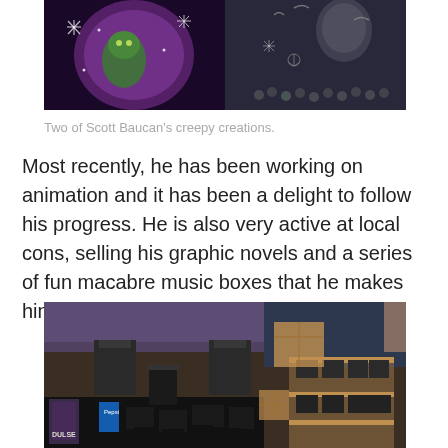[Figure (photo): Two of Scott Baucan's creepy dark fantasy artworks side by side. Left image shows a green creature with purple/pink background and snowflake designs. Right image shows a dark grey scene with floating skull-like shapes.]
Two of Scott Baucan’s creepy creations.
Most recently, he has been working on animation and it has been a delight to follow his progress. He is also very active at local cons, selling his graphic novels and a series of fun macabre music boxes that he makes himself.
[Figure (photo): A convention table display showing Scott Baucan's merchandise including graphic novels, macabre music boxes arranged on a wooden shelf, chairs behind the table, and various boxes and items for sale.]